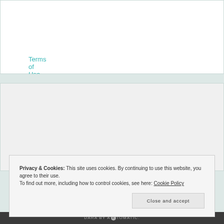Privacy Policy
Terms of Use
[Figure (other): Broken/missing image placeholder icon]
Privacy & Cookies: This site uses cookies. By continuing to use this website, you agree to their use.
To find out more, including how to control cookies, see here: Cookie Policy
Close and accept
DARA BY AUTOMATTIC.